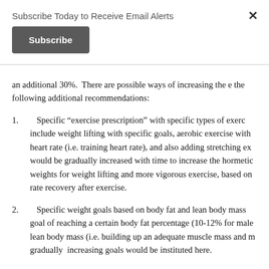Subscribe Today to Receive Email Alerts
[Figure (other): Subscribe button (dark gray button with white text)]
an additional 30%.  There are possible ways of increasing the e the following additional recommendations:
1.   Specific "exercise prescription" with specific types of exerc include weight lifting with specific goals, aerobic exercise with heart rate (i.e. training heart rate), and also adding stretching ex would be gradually increased with time to increase the hormetic weights for weight lifting and more vigorous exercise, based on rate recovery after exercise.
2.   Specific weight goals based on body fat and lean body mass goal of reaching a certain body fat percentage (10-12% for male lean body mass (i.e. building up an adequate muscle mass and m gradually  increasing goals would be instituted here.